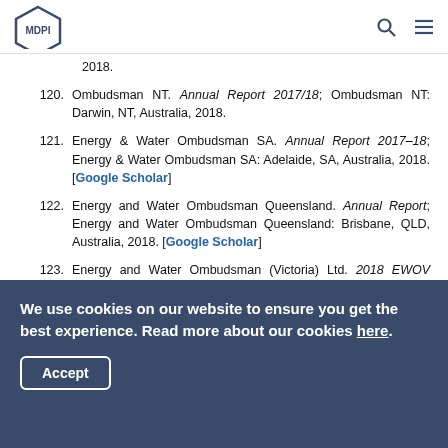MDPI
2018.
120. Ombudsman NT. Annual Report 2017/18; Ombudsman NT: Darwin, NT, Australia, 2018.
121. Energy & Water Ombudsman SA. Annual Report 2017–18; Energy & Water Ombudsman SA: Adelaide, SA, Australia, 2018. [Google Scholar]
122. Energy and Water Ombudsman Queensland. Annual Report; Energy and Water Ombudsman Queensland: Brisbane, QLD, Australia, 2018. [Google Scholar]
123. Energy and Water Ombudsman (Victoria) Ltd. 2018 EWOV Annual Report; Energy and Water Ombudsman
We use cookies on our website to ensure you get the best experience. Read more about our cookies here.
Accept